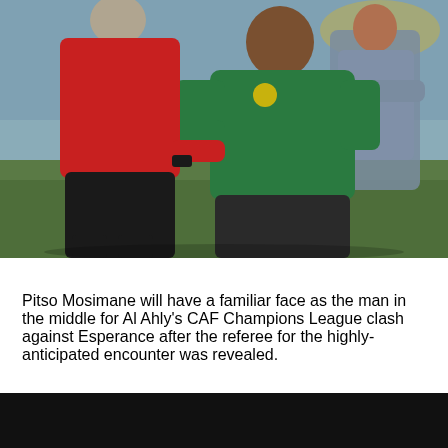[Figure (photo): A man in a green tracksuit top (Pitso Mosimane) gesturing toward a referee in a red shirt on a football pitch. A third person in blue/grey is visible in the background.]
Pitso Mosimane will have a familiar face as the man in the middle for Al Ahly's CAF Champions League clash against Esperance after the referee for the highly-anticipated encounter was revealed.